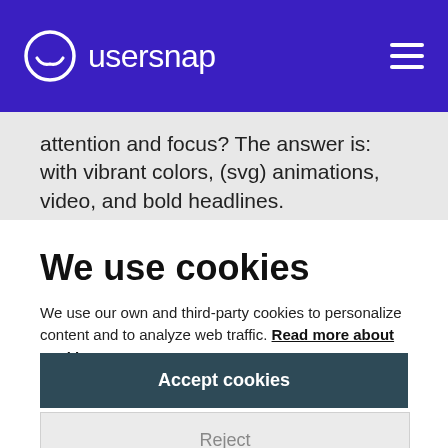usersnap
attention and focus? The answer is: with vibrant colors, (svg) animations, video, and bold headlines.
We use cookies
We use our own and third-party cookies to personalize content and to analyze web traffic. Read more about cookies
Accept cookies
Reject